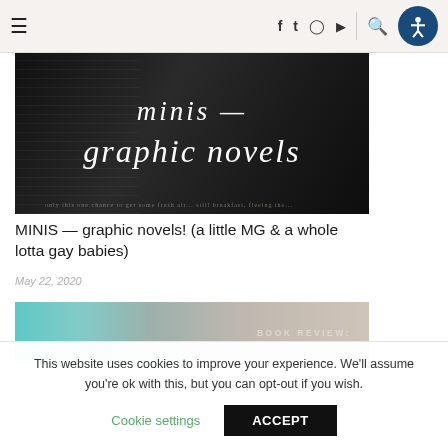≡ f t ⬤ ▶ 🔍 [accessibility icon]
[Figure (photo): Dark book pages with italic white text overlay reading 'minis — graphic novels']
MINIS — graphic novels! (a little MG & a whole lotta gay babies)
May 22, 2020
[Figure (photo): Partial image with teal/turquoise left side and gray/beige right side with text BOOK REVIEW]
This website uses cookies to improve your experience. We'll assume you're ok with this, but you can opt-out if you wish.
Cookie settings    ACCEPT